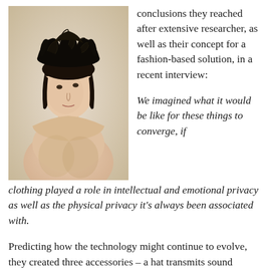[Figure (photo): Portrait photo of a person with pale skin wearing an ornate black lace/sculptural headpiece against a light beige background. The person is photographed from the torso up.]
conclusions they reached after extensive researcher, as well as their concept for a fashion-based solution, in a recent interview:
We imagined what it would be like for these things to converge, if clothing played a role in intellectual and emotional privacy as well as the physical privacy it’s always been associated with.
Predicting how the technology might continue to evolve, they created three accessories – a hat transmits sound through bone conduction, a collar